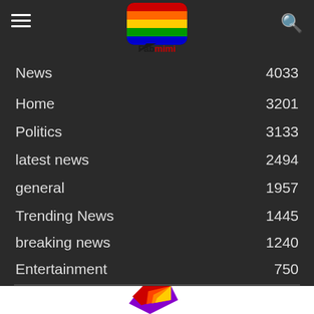[Figure (logo): Fabmimi logo — colorful speech bubble icon above the text 'Fabmimi' in dark font]
News  4033
Home  3201
Politics  3133
latest news  2494
general  1957
Trending News  1445
breaking news  1240
Entertainment  750
[Figure (illustration): Colorful angular/geometric shape resembling a phone or card with rainbow colors — purple, red, orange, yellow stripes]